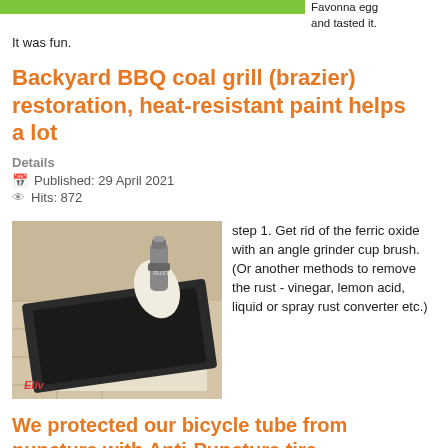[Figure (photo): Top green bar partial image (cropped top of page)]
Favonna egg and tasted it.
It was fun.
Backyard BBQ coal grill (brazier) restoration, heat-resistant paint helps a lot
Details
Published: 29 April 2021
Hits: 872
[Figure (photo): Photo of a person in white glove holding a spray can over a dark rectangular grill pan/brazier lying on newspaper on a tiled floor.]
step 1. Get rid of the ferric oxide with an angle grinder cup brush.
(Or another methods to remove the rust - vinegar, lemon acid, liquid or spray rust converter etc.)
We protected our bicycle tube from puncture with Anti-Puncture tire